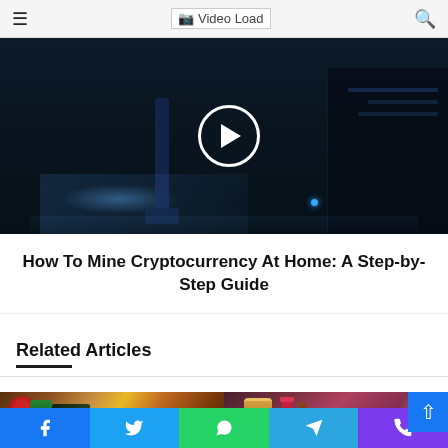Video Load
[Figure (screenshot): Dark video thumbnail showing industrial machine with play button overlay]
How To Mine Cryptocurrency At Home: A Step-by-Step Guide
Related Articles
[Figure (photo): Food photo showing sandwiches and fries with vegetables]
[Figure (photo): Beauty/cosmetics photo showing jars and lipsticks on pink background]